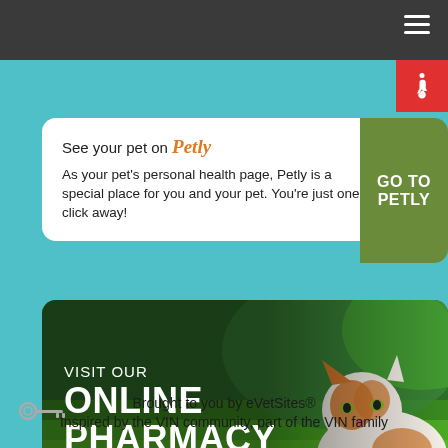Navigation bar with hamburger menu
[Figure (infographic): Accessibility icon - white wheelchair symbol on red background]
See your pet on Petly
As your pet's personal health page, Petly is a special place for you and your pet. You're just one click away!
GO TO PETLY
[Figure (photo): Orange and white tabby cat walking on green grass with text overlay: VISIT OUR ONLINE PHARMACY, SHOP NOW]
Brought to you by eVetSites®
Inspired by the VIN community, part of the VIN family